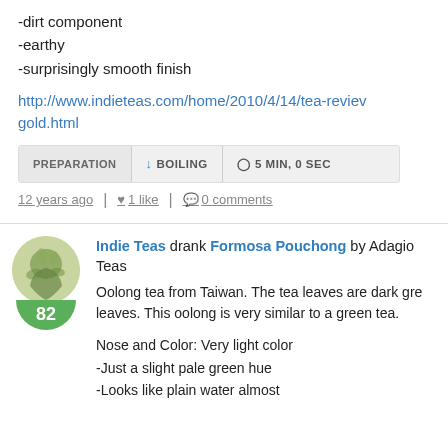-dirt component
-earthy
-surprisingly smooth finish
http://www.indieteas.com/home/2010/4/14/tea-review-gold.html
| PREPARATION | BOILING | 5 MIN, 0 SEC |
| --- | --- | --- |
12 years ago | 1 like | 0 comments
Indie Teas drank Formosa Pouchong by Adagio Teas
Oolong tea from Taiwan. The tea leaves are dark gre leaves. This oolong is very similar to a green tea.
Nose and Color: Very light color
-Just a slight pale green hue
-Looks like plain water almost